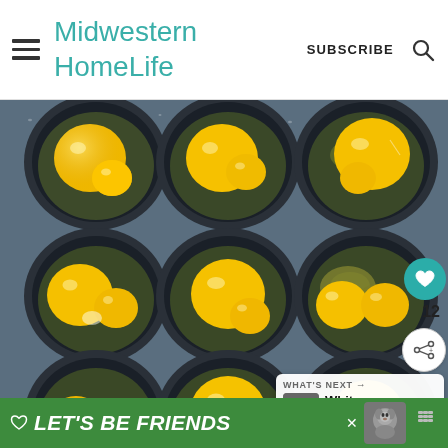Midwestern HomeLife — SUBSCRIBE
[Figure (photo): Top-down view of a dark non-stick muffin tin with 9 cups, each containing raw eggs with bright yellow yolks on top of a mixed filling (cheese, vegetables, sausage). The image shows a 3×3 grid of egg cups on a blue-gray muffin pan with water droplets on the surface.]
WHAT'S NEXT →
White Chocolate...
12
LET'S BE FRIENDS